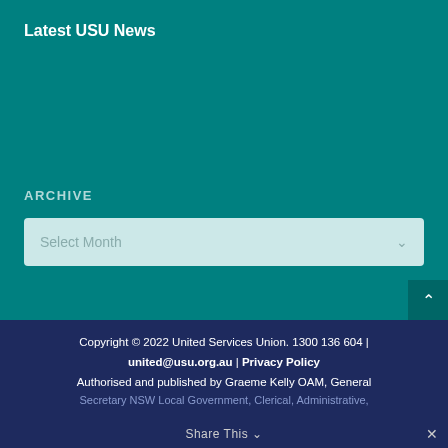Latest USU News
ARCHIVE
Select Month
Copyright © 2022 United Services Union. 1300 136 604 | united@usu.org.au | Privacy Policy
Authorised and published by Graeme Kelly OAM, General Secretary NSW Local Government, Clerical, Administrative, Energy, Airlines and Utilities Union
Share This